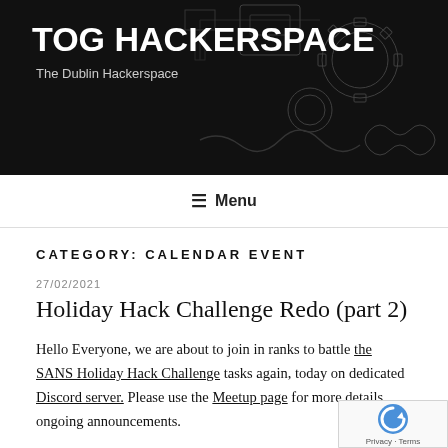TOG HACKERSPACE
The Dublin Hackerspace
Menu
CATEGORY: CALENDAR EVENT
27/02/2021
Holiday Hack Challenge Redo (part 2)
Hello Everyone, we are about to join in ranks to battle the SANS Holiday Hack Challenge tasks again, today on dedicated Discord server. Please use the Meetup page for more details, ongoing announcements.
This post will summaries last Meetup progress and